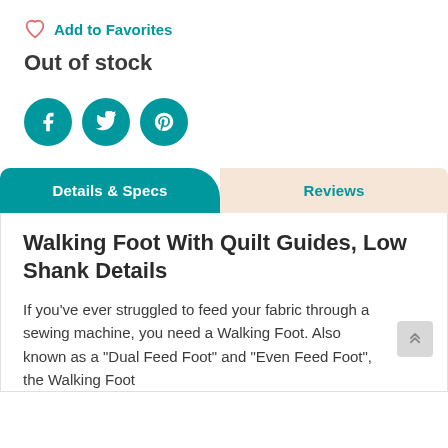Add to Favorites
Out of stock
[Figure (other): Social share icons: Facebook, Twitter, Pinterest as teal circles]
Details & Specs | Reviews (tab bar)
Walking Foot With Quilt Guides, Low Shank Details
If you've ever struggled to feed your fabric through a sewing machine, you need a Walking Foot. Also known as a "Dual Feed Foot" and "Even Feed Foot", the Walking Foot